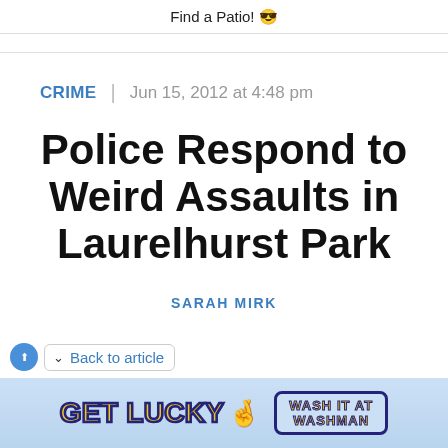Find a Patio! 😎
CRIME | Jun 15, 2012 at 4:48 pm
Police Respond to Weird Assaults in Laurelhurst Park
SARAH MIRK
Back to article
[Figure (illustration): Advertisement banner: GET LUCKY 🤞 WASH IT AT WASHMAN]